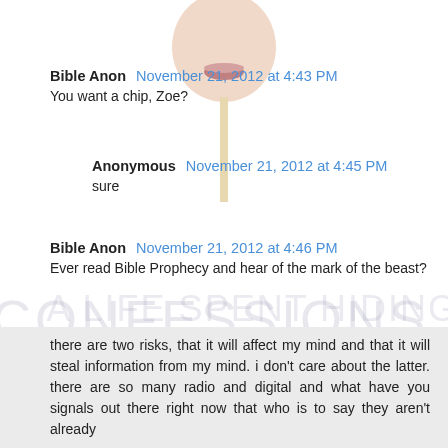[Figure (illustration): Illustration of a face/lollipop at the top of the page, partially visible, with pink lips and a stick]
Bible Anon  November 21, 2012 at 4:43 PM
You want a chip, Zoe?
Anonymous  November 21, 2012 at 4:45 PM
sure
Bible Anon  November 21, 2012 at 4:46 PM
Ever read Bible Prophecy and hear of the mark of the beast?
Anonymous  November 21, 2012 at 4:47 PM
there are two risks, that it will affect my mind and that it will steal information from my mind. i don't care about the latter. there are so many radio and digital and what have you signals out there right now that who is to say they aren't already